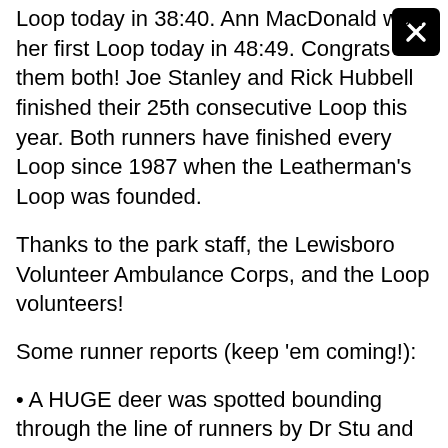Loop today in 38:40. Ann MacDonald won her first Loop today in 48:49. Congrats to them both! Joe Stanley and Rick Hubbell finished their 25th consecutive Loop this year. Both runners have finished every Loop since 1987 when the Leatherman's Loop was founded.
Thanks to the park staff, the Lewisboro Volunteer Ambulance Corps, and the Loop volunteers!
Some runner reports (keep 'em coming!):
• A HUGE deer was spotted bounding through the line of runners by Dr Stu and other runners – almost taking out 11 year old Dillon Aryeh but thankfully missing! It's